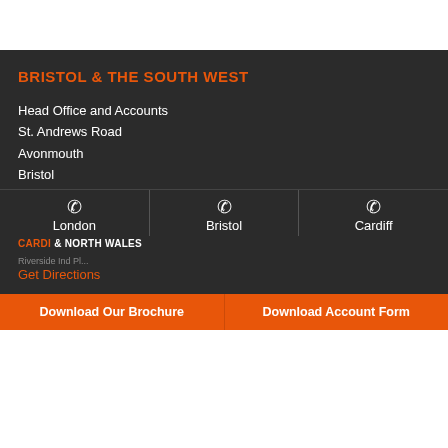BRISTOL & THE SOUTH WEST
Head Office and Accounts
St. Andrews Road
Avonmouth
Bristol
BS11 9HS
Tel: 0117 982 8236
Fax: 0117 982 1477
Get Directions
CARDIFF & NORTH WALES
Riverside Ind Pl...
London | Bristol | Cardiff
Download Our Brochure | Download Account Form